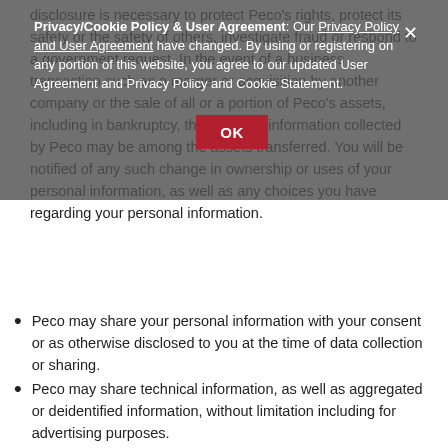disclosure is necessary to protect Peco's rights, protect its safety or the safety of others, investigate fraud or respond to a government request. In the event of a business transaction such as a merger or acquisition by another company or the sale of all or a portion of Peco's assets, including in bankruptcy, the personal information collected by Peco may be among the assets transferred. You will be notified of any such change in ownership or uses of your personal information, as well as any choices you have regarding your personal information.
[Figure (screenshot): Cookie/Privacy Policy modal overlay with OK button. Text: 'Privacy/Cookie Policy & User Agreement: Our Privacy Policy and User Agreement have changed. By using or registering on any portion of this website, you agree to our updated User Agreement and Privacy Policy and Cookie Statement.' with a red OK button and close X.]
Peco may share your personal information with your consent or as otherwise disclosed to you at the time of data collection or sharing.
Peco may share technical information, as well as aggregated or deidentified information, without limitation including for advertising purposes.
USER ACCESS AND CHOICE
Upon request, Peco will provide you with information about whether Peco holds any of your personal information. You may access, correct or request that